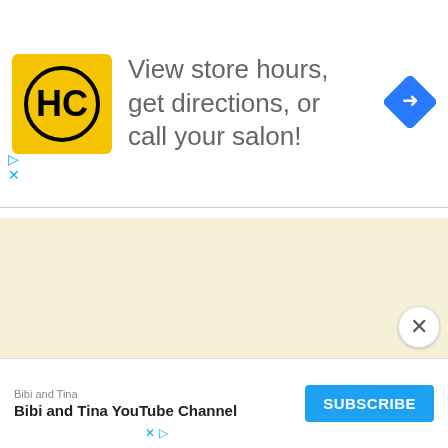[Figure (logo): HC logo - yellow square with black HC letters in a circle, alongside text 'View store hours, get directions, or call your salon!' and a blue navigation diamond icon on the right]
[Figure (map): Light beige/cream colored map area with a tab/panel collapsed at the top left with a chevron up icon]
[Figure (screenshot): Close X button in white circle at bottom right]
[Figure (screenshot): Bottom YouTube channel ad banner: 'Bibi and Tina' channel name, 'Bibi and Tina YouTube Channel' title, blue SUBSCRIBE button]